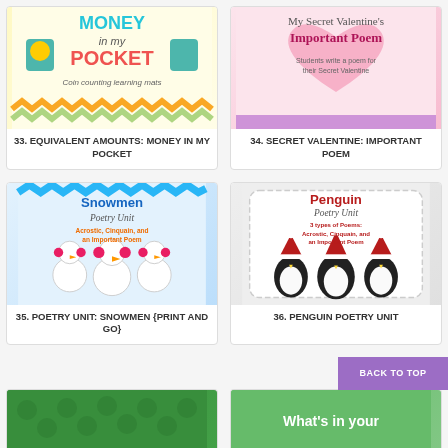[Figure (illustration): Cover image: Money in My Pocket coin counting learning mats, colorful lettering with coins]
33. EQUIVALENT AMOUNTS: MONEY IN MY POCKET
[Figure (illustration): Cover image: My Secret Valentine's Important Poem, students write a poem for their Secret Valentine, pink heart design]
34. SECRET VALENTINE: IMPORTANT POEM
[Figure (illustration): Cover image: Snowmen Poetry Unit - Acrostic, Cinquain, and an Important Poem, three snowmen with earmuffs]
35. POETRY UNIT: SNOWMEN {PRINT AND GO}
[Figure (illustration): Cover image: Penguin Poetry Unit - 3 types of Poems: Acrostic, Cinquain, and an Important Poem, three penguins with Santa hats]
36. PENGUIN POETRY UNIT
[Figure (illustration): Partial cover image bottom left, green pattern]
[Figure (illustration): Partial cover image bottom right, green with text 'What's in your']
BACK TO TOP